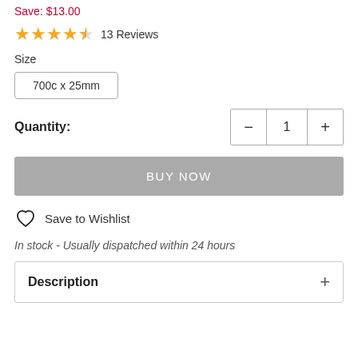Save: $13.00
13 Reviews
Size
700c x 25mm
Quantity: 1
BUY NOW
Save to Wishlist
In stock - Usually dispatched within 24 hours
Description